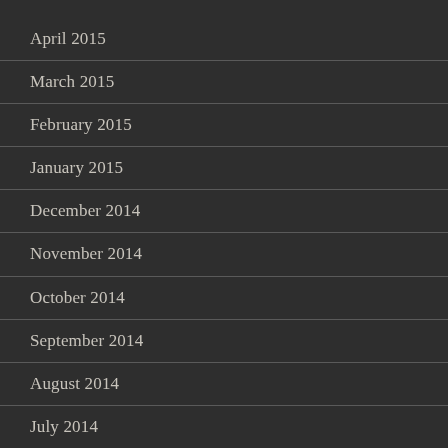April 2015
March 2015
February 2015
January 2015
December 2014
November 2014
October 2014
September 2014
August 2014
July 2014